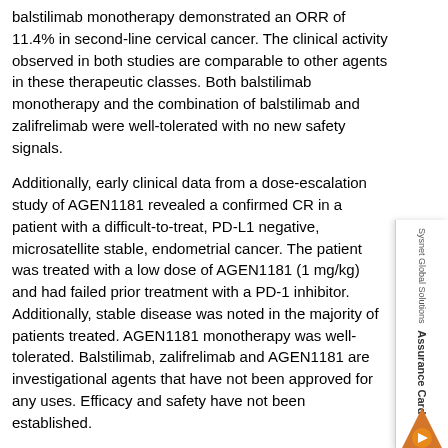balstilimab monotherapy demonstrated an ORR of 11.4% in second-line cervical cancer. The clinical activity observed in both studies are comparable to other agents in these therapeutic classes. Both balstilimab monotherapy and the combination of balstilimab and zalifrelimab were well-tolerated with no new safety signals.
Additionally, early clinical data from a dose-escalation study of AGEN1181 revealed a confirmed CR in a patient with a difficult-to-treat, PD-L1 negative, microsatellite stable, endometrial cancer. The patient was treated with a low dose of AGEN1181 (1 mg/kg) and had failed prior treatment with a PD-1 inhibitor. Additionally, stable disease was noted in the majority of patients treated. AGEN1181 monotherapy was well-tolerated. Balstilimab, zalifrelimab and AGEN1181 are investigational agents that have not been approved for any uses. Efficacy and safety have not been established.
Details for today's Investor Day:
| Date: | Thursday, February 20, 2020 |
| Time: | 9:00 – 11:00AM |
| Location: | New York, NY (by invitation only) |
Link to Webcast
Presenters will include global experts in immune-oncology, Dr. Chuck Drake, Co-Director, Cancer Immunotherapy Program, Columbia